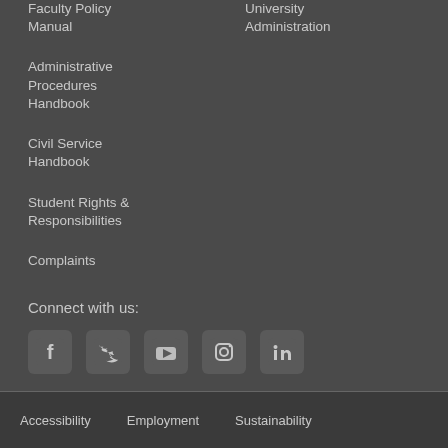Faculty Policy Manual
Administrative Procedures Handbook
Civil Service Handbook
Student Rights & Responsibilities
Complaints
University Administration
Connect with us:
[Figure (infographic): Row of social media icons: Facebook, Twitter, YouTube, Instagram, LinkedIn]
Accessibility   Employment   Sustainability